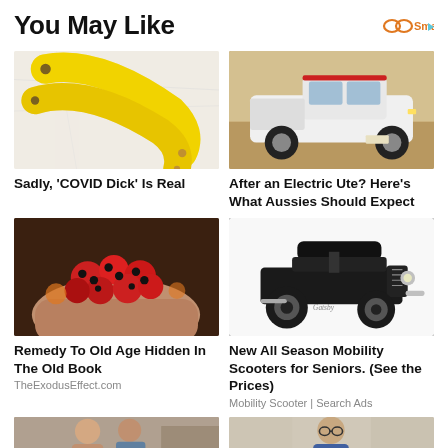You May Like
[Figure (logo): Smartfeed logo with infinity-style icon in orange and play button arrow]
[Figure (photo): Two yellow banana peels on a white marble surface]
Sadly, 'COVID Dick' Is Real
[Figure (photo): White electric ute/truck driving on sandy desert terrain]
After an Electric Ute? Here's What Aussies Should Expect
[Figure (photo): Hands holding red and black berries/seeds]
Remedy To Old Age Hidden In The Old Book
TheExodusEffect.com
[Figure (photo): Black vintage-style mobility scooter on white background]
New All Season Mobility Scooters for Seniors. (See the Prices)
Mobility Scooter | Search Ads
[Figure (photo): Young couple, woman and man, indoor setting]
[Figure (photo): Man with glasses in light setting]